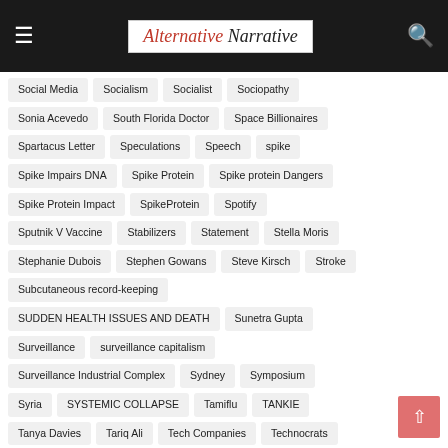Alternative Narrative
Social Media
Socialism
Socialist
Sociopathy
Sonia Acevedo
South Florida Doctor
Space Billionaires
Spartacus Letter
Speculations
Speech
spike
Spike Impairs DNA
Spike Protein
Spike protein Dangers
Spike Protein Impact
SpikeProtein
Spotify
Sputnik V Vaccine
Stabilizers
Statement
Stella Moris
Stephanie Dubois
Stephen Gowans
Steve Kirsch
Stroke
Subcutaneous record-keeping
SUDDEN HEALTH ISSUES AND DEATH
Sunetra Gupta
Surveillance
surveillance capitalism
Surveillance Industrial Complex
Sydney
Symposium
Syria
SYSTEMIC COLLAPSE
Tamiflu
TANKIE
Tanya Davies
Tariq Ali
Tech Companies
Technocrats